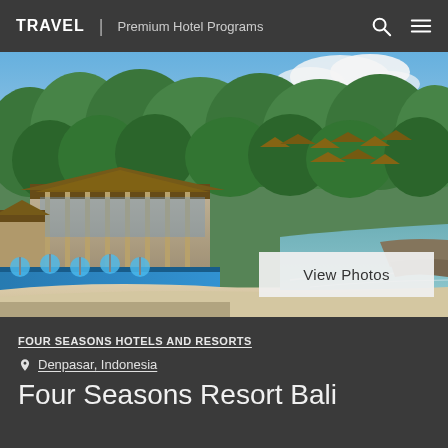TRAVEL | Premium Hotel Programs
[Figure (photo): Aerial drone view of Four Seasons Resort Bali at Jimbaran Bay, showing the resort buildings with thatched roofs, an infinity pool along the beach, sandy beach, lush tropical greenery, and turquoise ocean water]
View Photos
FOUR SEASONS HOTELS AND RESORTS
Denpasar, Indonesia
Four Seasons Resort Bali